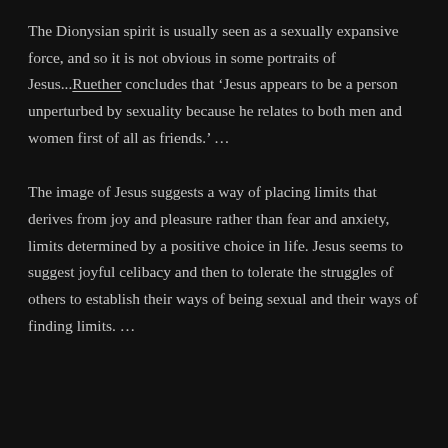The Dionysian spirit is usually seen as a sexually expansive force, and so it is not obvious in some portraits of Jesus...Ruether concludes that ‘Jesus appears to be a person unperturbed by sexuality because he relates to both men and women first of all as friends.’ ...
The image of Jesus suggests a way of placing limits that derives from joy and pleasure rather than fear and anxiety, limits determined by a positive choice in life. Jesus seems to suggest joyful celibacy and then to tolerate the struggles of others to establish their ways of being sexual and their ways of finding limits. ...